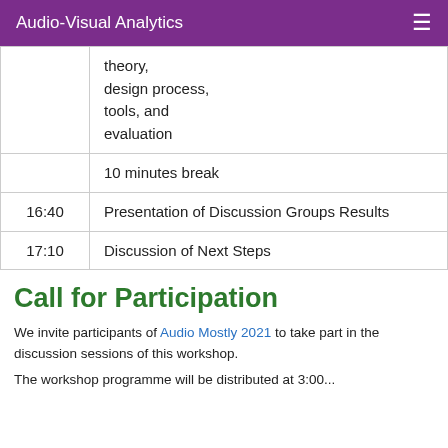Audio-Visual Analytics
| Time | Content |
| --- | --- |
|  | theory,
design process,
tools, and
evaluation |
|  | 10 minutes break |
| 16:40 | Presentation of Discussion Groups Results |
| 17:10 | Discussion of Next Steps |
Call for Participation
We invite participants of Audio Mostly 2021 to take part in the discussion sessions of this workshop.
The workshop programme will be distributed at 3:00...